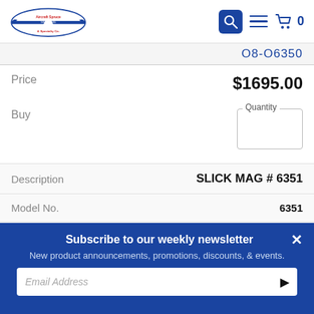Aircraft Spruce & Specialty Co. — navigation header with search, menu, cart icons
O8-O6350 (partial part number, truncated)
| Field | Value |
| --- | --- |
| Price | $1695.00 |
| Buy | Quantity |
| Field | Value |
| --- | --- |
| Description | SLICK MAG # 6351 |
| Model No. | 6351 |
| Part Number | O8-O6351 |
| Price |  |
Subscribe to our weekly newsletter
New product announcements, promotions, discounts, & events.